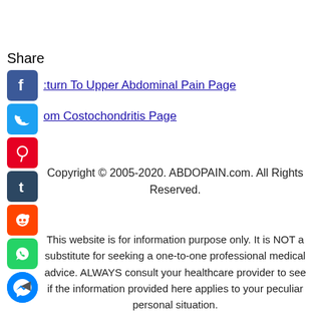Share
Return To Upper Abdominal Pain Page
om Costochondritis Page
Copyright © 2005-2020. ABDOPAIN.com. All Rights Reserved.
This website is for information purpose only. It is NOT a substitute for seeking a one-to-one professional medical advice. ALWAYS consult your healthcare provider to see if the information provided here applies to your peculiar personal situation.